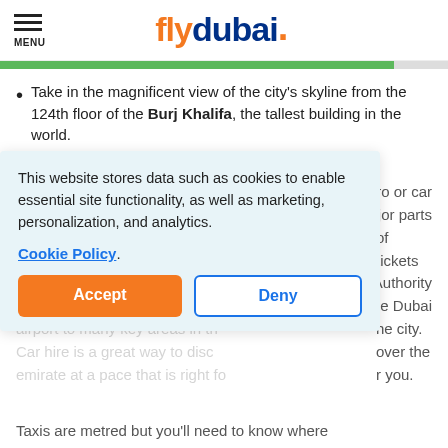MENU | flydubai
Take in the magnificent view of the city's skyline from the 124th floor of the Burj Khalifa, the tallest building in the world.
Getting around Dubai
You can get around Dubai by metro or car ... major parts of ... tickets Authority the Dubai the city. over the r you.
This website stores data such as cookies to enable essential site functionality, as well as marketing, personalization, and analytics.
Cookie Policy
Accept
Deny
Taxis are metred but you'll need to know where